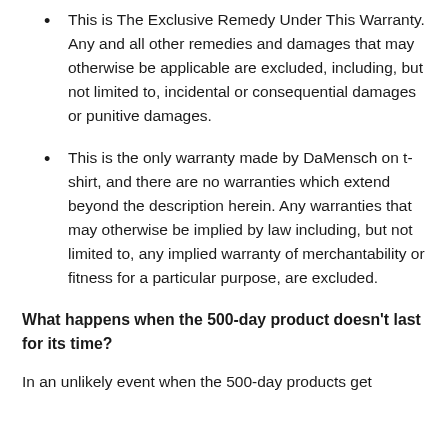This is The Exclusive Remedy Under This Warranty. Any and all other remedies and damages that may otherwise be applicable are excluded, including, but not limited to, incidental or consequential damages or punitive damages.
This is the only warranty made by DaMensch on t-shirt, and there are no warranties which extend beyond the description herein. Any warranties that may otherwise be implied by law including, but not limited to, any implied warranty of merchantability or fitness for a particular purpose, are excluded.
What happens when the 500-day product doesn't last for its time?
In an unlikely event when the 500-day products get